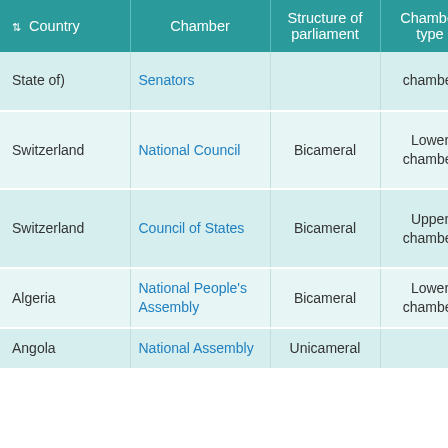| Country | Chamber | Structure of parliament | Chamber type | N… |
| --- | --- | --- | --- | --- |
| State of) | Senators |  | chamber | Elec… Con… |
| Switzerland | National Council | Bicameral | Lower chamber | Cro… of W… Par… |
| Switzerland | Council of States | Bicameral | Upper chamber | Cro… of W… Par… |
| Algeria | National People's Assembly | Bicameral | Lower chamber | Def… |
| Angola | National Assembly | Unicameral |  | Def… |